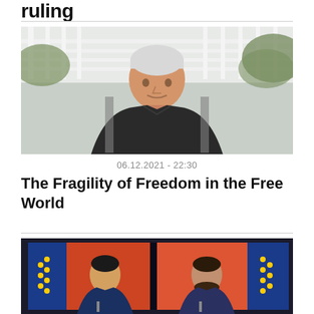ruling
[Figure (photo): Older man with white hair wearing a dark fleece jacket, seated outdoors on a porch with white railing and green foliage in background]
06.12.2021 - 22:30
The Fragility of Freedom in the Free World
[Figure (photo): Television screen showing two split images of men in suits against EU flag and red/orange backgrounds, appearing to be a diplomatic meeting broadcast]